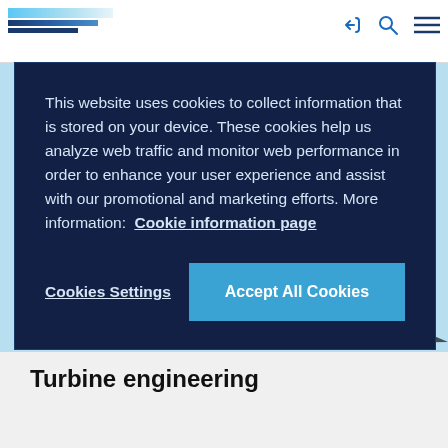Website header with logo and navigation icons
This website uses cookies to collect information that is stored on your device. These cookies help us analyze web traffic and monitor web performance in order to enhance your user experience and assist with our promotional and marketing efforts. More information: Cookie information page
Cookies Settings | Accept All Cookies
[Figure (photo): Turbine engineering component photograph showing black turbine blades and mechanical parts against a light blue background with a circular blue graphic element]
Turbine engineering